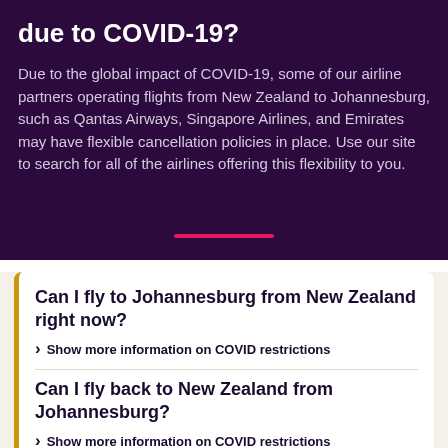due to COVID-19?
Due to the global impact of COVID-19, some of our airline partners operating flights from New Zealand to Johannesburg, such as Qantas Airways, Singapore Airlines, and Emirates may have flexible cancellation policies in place. Use our site to search for all of the airlines offering this flexibility to you.
Can I fly to Johannesburg from New Zealand right now?
Show more information on COVID restrictions
Can I fly back to New Zealand from Johannesburg?
Show more information on COVID restrictions